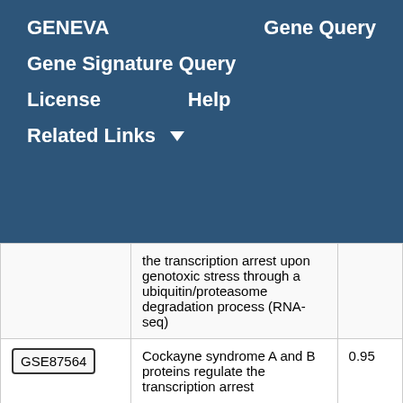GENEVA    Gene Query
Gene Signature Query
License    Help
Related Links ▾
|  | Description | Score |
| --- | --- | --- |
|  | the transcription arrest upon genotoxic stress through a ubiquitin/proteasome degradation process (RNA-seq) |  |
| GSE87564 | Cockayne syndrome A and B proteins regulate the transcription arrest | 0.95 |